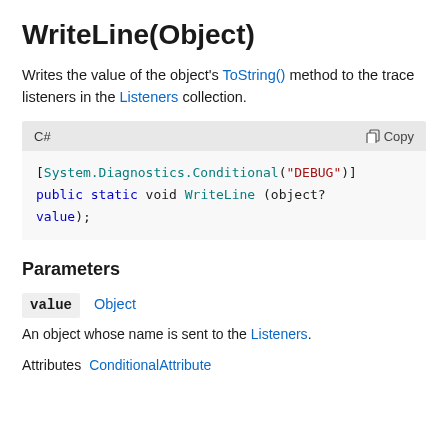WriteLine(Object)
Writes the value of the object's ToString() method to the trace listeners in the Listeners collection.
[Figure (screenshot): C# code block showing: [System.Diagnostics.Conditional("DEBUG")] public static void WriteLine (object? value);]
Parameters
value   Object
An object whose name is sent to the Listeners.
Attributes   ConditionalAttribute